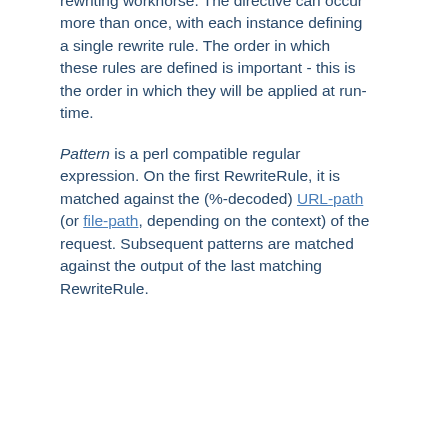rewriting workhorse. The directive can occur more than once, with each instance defining a single rewrite rule. The order in which these rules are defined is important - this is the order in which they will be applied at run-time.
Pattern is a perl compatible regular expression. On the first RewriteRule, it is matched against the (%-decoded) URL-path (or file-path, depending on the context) of the request. Subsequent patterns are matched against the output of the last matching RewriteRule.